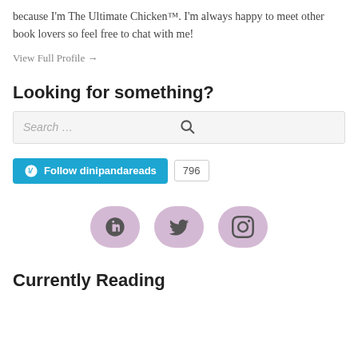because I'm The Ultimate Chicken™. I'm always happy to meet other book lovers so feel free to chat with me!
View Full Profile →
Looking for something?
Search …
[Figure (other): Follow dinipandareads WordPress follow button with follower count 796]
[Figure (other): Social media icons: Goodreads, Twitter, Instagram on purple pill-shaped backgrounds]
Currently Reading